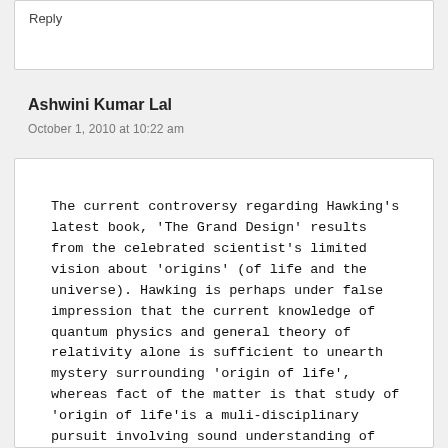Reply
Ashwini Kumar Lal
October 1, 2010 at 10:22 am
The current controversy regarding Hawking's latest book, 'The Grand Design' results from the celebrated scientist's limited vision about 'origins' (of life and the universe). Hawking is perhaps under false impression that the current knowledge of quantum physics and general theory of relativity alone is sufficient to unearth mystery surrounding 'origin of life', whereas fact of the matter is that study of 'origin of life'is a muli-disciplinary pursuit involving sound understanding of diverse subjects such as genetics, astrobiology, and molecular biology besides astrophysics. Ironically, despite